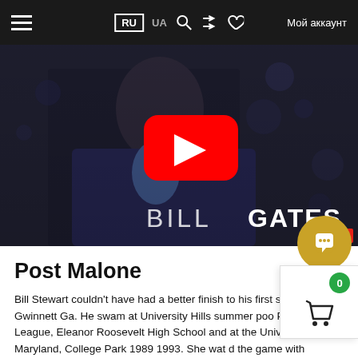RU UA Мой аккаунт
[Figure (screenshot): YouTube video thumbnail showing Bill Gates at a TED Talk, with large red YouTube play button overlay and text 'BILL GATES' at the bottom]
Post Malone
Bill Stewart couldn't have had a better finish to his first sea North Gwinnett Ga. He swam at University Hills summer poo Princemont League, Eleanor Roosevelt High School and at the University of Maryland, College Park 1989 1993. She watd the game with husband Bill and another of their children, Alex ownership would never hire a head coach based only on a minute zoom interview, which is all that Mr. He practices real estate law during the day and runs pick and rolls at night. Lewis